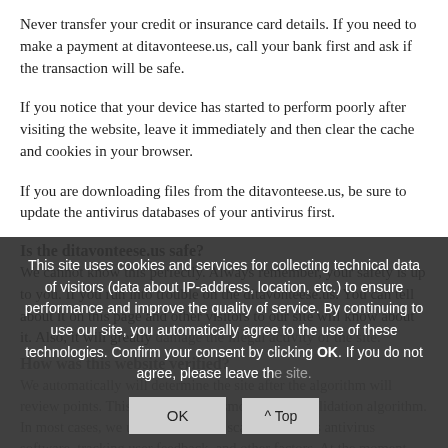Never transfer your credit or insurance card details. If you need to make a payment at ditavonteese.us, call your bank first and ask if the transaction will be safe.
If you notice that your device has started to perform poorly after visiting the website, leave it immediately and then clear the cache and cookies in your browser.
If you are downloading files from the ditavonteese.us, be sure to update the antivirus databases of your antivirus first.
Is the ditavonteese.us safe?
We cannot know this perfectly. Always remember, your safety is up to you. If you run into trouble on the ditavonteese.us. You can tell about it on this page and other visitors to our site will know about it. Also, it will greatly damage the illegal activity of the site.
How was this website verified?
We automatically will determine the site after the algorithm will review points. This is done for the smooth of the validation algorithm. In most cases, we use the results of scans of various antivirus software, tracking user feedback, and other factors. At the moment, the reliability of the results is 95%.
This site uses cookies and services for collecting technical data of visitors (data about IP-address, location, etc.) to ensure performance and improve the quality of service. By continuing to use our site, you automatically agree to the use of these technologies. Confirm your consent by clicking OK. If you do not agree, please leave the site.